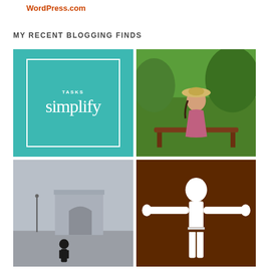WordPress.com
MY RECENT BLOGGING FINDS
[Figure (illustration): Teal card with white border and text 'TASKS simplify']
[Figure (photo): Woman in floral dress and sun hat sitting on a park bench reading, with green trees in background]
[Figure (photo): Person in black standing in front of the Arc de Triomphe in Paris on an overcast day]
[Figure (illustration): Brown background with white silhouette of a person standing with arms outstretched]